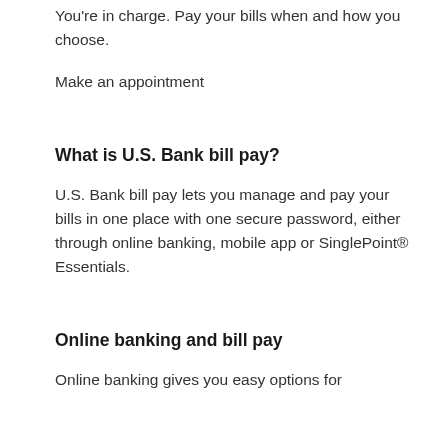You're in charge. Pay your bills when and how you choose.
Make an appointment
What is U.S. Bank bill pay?
U.S. Bank bill pay lets you manage and pay your bills in one place with one secure password, either through online banking, mobile app or SinglePoint® Essentials.
Online banking and bill pay
Online banking gives you easy options for